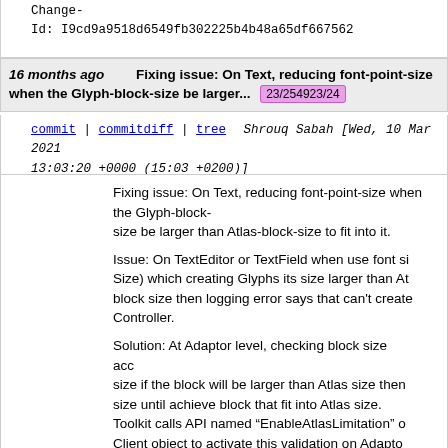Change-
Id: I9cd9a9518d6549fb302225b4b48a65df667562
16 months ago   Fixing issue: On Text, reducing font-point-size when the Glyph-block-size be larger...  23/254923/24
commit | commitdiff | tree   Shrouq Sabah [Wed, 10 Mar 2021 13:03:20 +0000 (15:03 +0200)]
Fixing issue: On Text, reducing font-point-size when the Glyph-block-size be larger than Atlas-block-size to fit into it.

Issue: On TextEditor or TextField when use font size (Size) which creating Glyphs its size larger than Atlas block size then logging error says that can't create Controller.

Solution: At Adaptor level, checking block size according to size if the block will be larger than Atlas size then reduce size until achieve block that fit into Atlas size. Toolkit calls API named "EnableAtlasLimitation" on Client object to activate this validation on Adaptor Client class.
Log warning that the point-size is reduced. Automated test-cases added to Adaptor and Toolkit

Added APIs into font-client/Adaptor for Point-size & Atlas information instead of constants/litera...